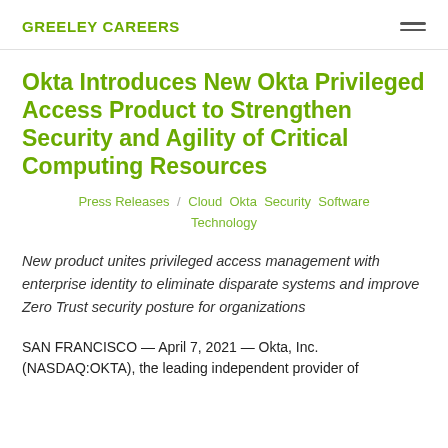GREELEY CAREERS
Okta Introduces New Okta Privileged Access Product to Strengthen Security and Agility of Critical Computing Resources
Press Releases / Cloud Okta Security Software Technology
New product unites privileged access management with enterprise identity to eliminate disparate systems and improve Zero Trust security posture for organizations
SAN FRANCISCO — April 7, 2021 — Okta, Inc. (NASDAQ:OKTA), the leading independent provider of